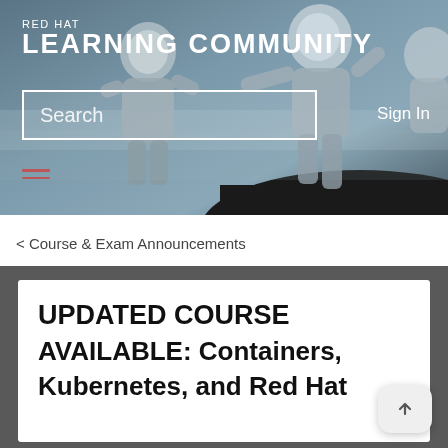[Figure (screenshot): Red Hat Learning Community website hero banner with two astronauts in spacesuits against a grey atmospheric background, one helping the other climb. Contains the site logo/title, a search bar, and Sign In link.]
RED HAT LEARNING COMMUNITY
Search
Sign In
< Course & Exam Announcements
UPDATED COURSE AVAILABLE: Containers, Kubernetes, and Red Hat